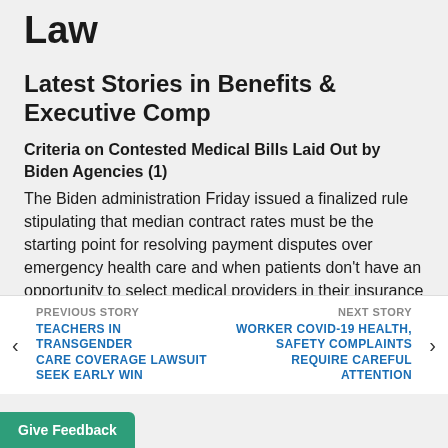Law
Latest Stories in Benefits & Executive Comp
Criteria on Contested Medical Bills Laid Out by Biden Agencies (1)
The Biden administration Friday issued a finalized rule stipulating that median contract rates must be the starting point for resolving payment disputes over emergency health care and when patients don't have an opportunity to select medical providers in their insurance networks.
PREVIOUS STORY
TEACHERS IN TRANSGENDER CARE COVERAGE LAWSUIT SEEK EARLY WIN
NEXT STORY
WORKER COVID-19 HEALTH, SAFETY COMPLAINTS REQUIRE CAREFUL ATTENTION